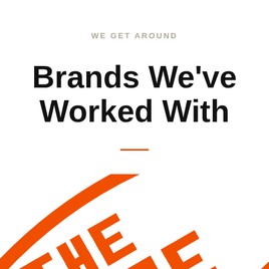WE GET AROUND
Brands We've Worked With
[Figure (logo): The Home Depot logo shown at an angle, large orange letters spelling 'THE HOME' visible, cropped at bottom of page]